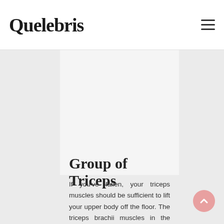Quelebris
[Figure (other): Large grey placeholder/ad banner area inside a content panel]
Group of Triceps
If you've fallen, your triceps muscles should be sufficient to lift your upper body off the floor. The triceps brachii muscles in the upper arm are comprised of three separate muscle bands that work to flex and bend the elbow. To strengthen the